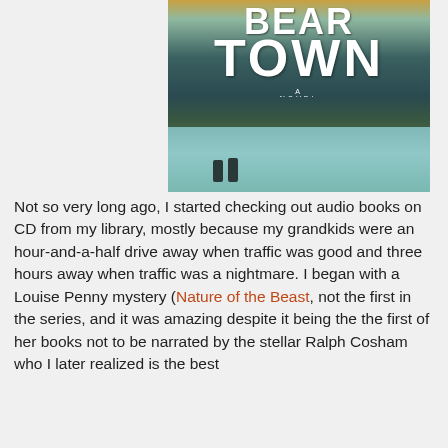[Figure (photo): Book cover showing 'BEAR TOWN - A Novel' with a winter hockey scene, figures skating on ice with a snow-covered town and dark forest in the background, and a warm sky above.]
Not so very long ago, I started checking out audio books on CD from my library, mostly because my grandkids were an hour-and-a-half drive away when traffic was good and three hours away when traffic was a nightmare. I began with a Louise Penny mystery (Nature of the Beast, not the first in the series, and it was amazing despite it being the the first of her books not to be narrated by the stellar Ralph Cosham who I later realized is the best